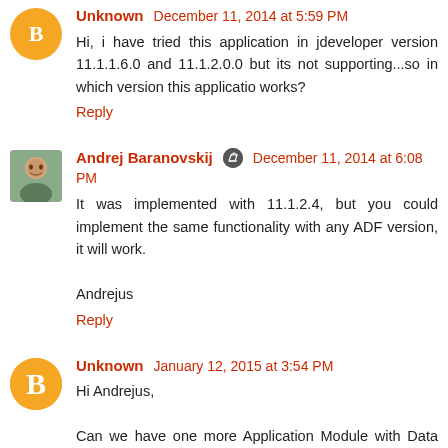Unknown December 11, 2014 at 5:59 PM
Hi, i have tried this application in jdeveloper version 11.1.1.6.0 and 11.1.2.0.0 but its not supporting...so in which version this applicatio works?
Reply
Andrej Baranovskij December 11, 2014 at 6:08 PM
It was implemented with 11.1.2.4, but you could implement the same functionality with any ADF version, it will work.

Andrejus
Reply
Unknown January 12, 2015 at 3:54 PM
Hi Andrejus,

Can we have one more Application Module with Data source connection provided, and fetching the data from local DB, displaying it in same UI page, i.e. just below the